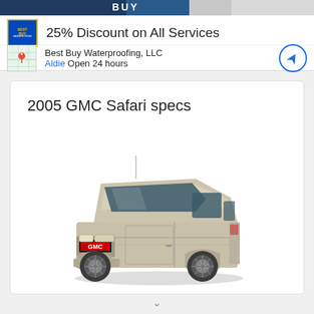[Figure (screenshot): Top banner image with dark blue and grey background, partially visible text]
25% Discount on All Services
Best Buy Waterproofing, LLC
Aldie Open 24 hours
2005 GMC Safari specs
[Figure (photo): Photo of a silver 2005 GMC Safari minivan, front three-quarter view]